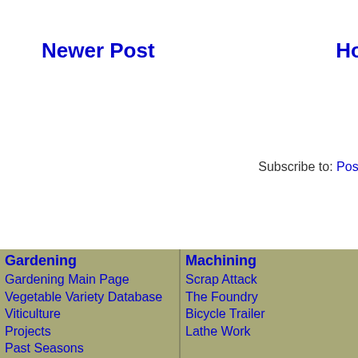Newer Post
Home
Subscribe to: Post Co
Gardening
Gardening Main Page
Vegetable Variety Database
Viticulture
Projects
Past Seasons
Machining
Scrap Attack
The Foundry
Bicycle Trailer
Lathe Work